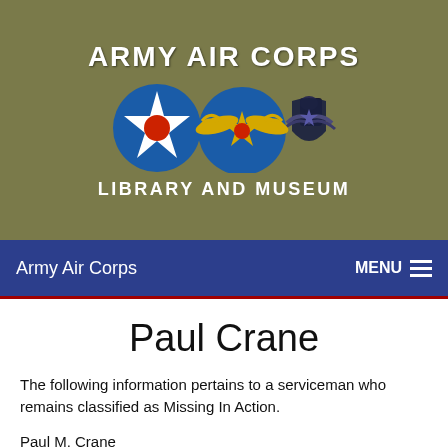[Figure (logo): Army Air Corps Library and Museum header banner with olive/khaki background, white bold text 'ARMY AIR CORPS' and 'LIBRARY AND MUSEUM', with three emblems: a blue roundel with white star and red center, a gold winged star emblem, and a dark USAF wings emblem]
Army Air Corps    MENU
Paul Crane
The following information pertains to a serviceman who remains classified as Missing In Action.
Paul M. Crane
Rank: Staff Sergeant
Service Number: 13046804
Date Missing: 01/27/1943
Unit: 68th Bombardment Squadron 44th Bombardment Group (Heavy)
Branch of Service: U.S. Army Air Force